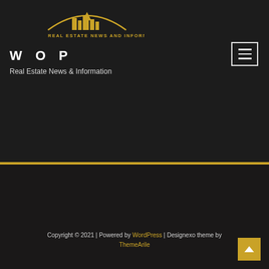[Figure (logo): Real Estate News and Information logo with golden city skyline and semicircle motif, text 'REAL ESTATE NEWS AND INFORMATION' below]
WOP
Real Estate News & Information
[Figure (other): Hamburger menu navigation button (three horizontal lines) with white border]
Copyright © 2021 | Powered by WordPress | Designexo theme by ThemeArile